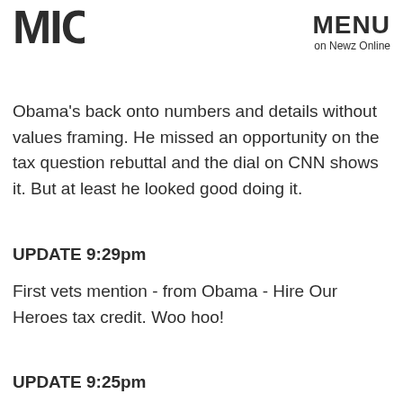[Figure (logo): MIC logo — bold block letters M, I, C stacked vertically in dark gray]
MENU
on Newz Online
Obama's back onto numbers and details without values framing. He missed an opportunity on the tax question rebuttal and the dial on CNN shows it. But at least he looked good doing it.
UPDATE 9:29pm
First vets mention - from Obama - Hire Our Heroes tax credit. Woo hoo!
UPDATE 9:25pm